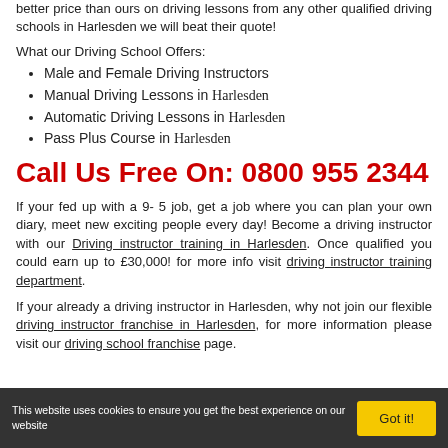better price than ours on driving lessons from any other qualified driving schools in Harlesden we will beat their quote!
What our Driving School Offers:
Male and Female Driving Instructors
Manual Driving Lessons in Harlesden
Automatic Driving Lessons in Harlesden
Pass Plus Course in Harlesden
Call Us Free On: 0800 955 2344
If your fed up with a 9- 5 job, get a job where you can plan your own diary, meet new exciting people every day! Become a driving instructor with our Driving instructor training in Harlesden. Once qualified you could earn up to £30,000! for more info visit driving instructor training department.
If your already a driving instructor in Harlesden, why not join our flexible driving instructor franchise in Harlesden, for more information please visit our driving school franchise page.
This website uses cookies to ensure you get the best experience on our website